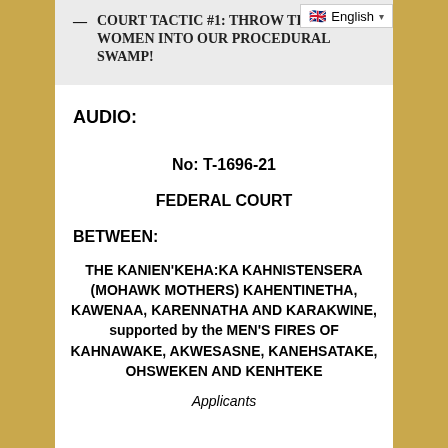— COURT TACTIC #1: THROW THOSE WOMEN INTO OUR PROCEDURAL SWAMP!
English
AUDIO:
No: T-1696-21
FEDERAL COURT
BETWEEN:
THE KANIEN'KEHA:KA KAHNISTENSERA (MOHAWK MOTHERS) KAHENTINETHA, KAWENAA, KARENNATHA AND KARAKWINE, supported by the MEN'S FIRES OF KAHNAWAKE, AKWESASNE, KANEHSATAKE, OHSWEKEN AND KENHTEKE
Applicants